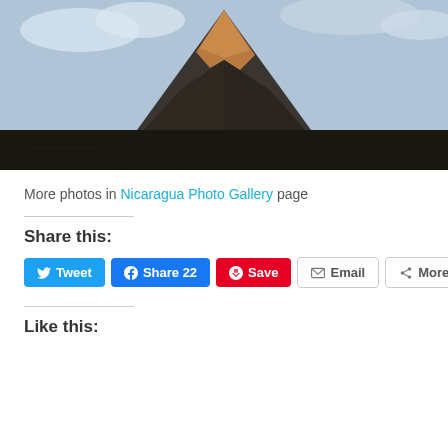[Figure (photo): Photograph of a large volcanic mountain (cone-shaped volcano) with brown/orange rocky peak and lava fields at the base, under a cloudy sky.]
More photos in Nicaragua Photo Gallery page
Share this:
Tweet | Share 22 | Save | Email | More
Like this: